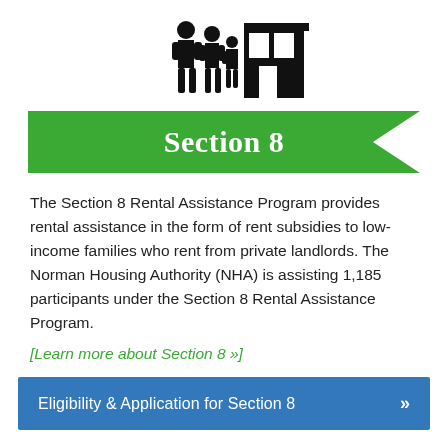[Figure (illustration): Black silhouette icon of a family (two adults and a child) standing in front of a building or housing structure]
Section 8
The Section 8 Rental Assistance Program provides rental assistance in the form of rent subsidies to low-income families who rent from private landlords. The Norman Housing Authority (NHA) is assisting 1,185 participants under the Section 8 Rental Assistance Program.
[Learn more about Section 8 »]
Eligibility & Application for Section 8